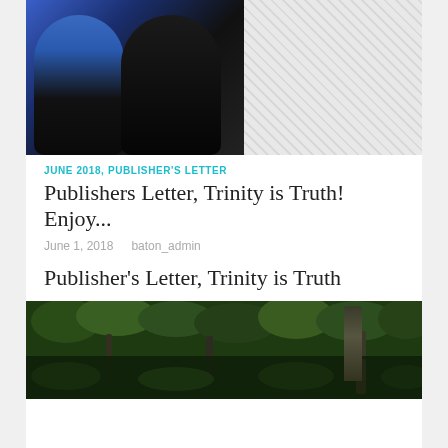[Figure (photo): Two people standing together - a man in a blue blazer with pink tie and a woman in a black outfit, with a hatched/gray placeholder area to the right]
JUNE 2018, PUBLISHER'S LETTER
Publishers Letter, Trinity is Truth! Enjoy...
June 1, 2018    baton_admin
Publisher's Letter, Trinity is Truth
[Figure (photo): Landscape photo of a wooded area with trees reflected in still water, dark green tones]